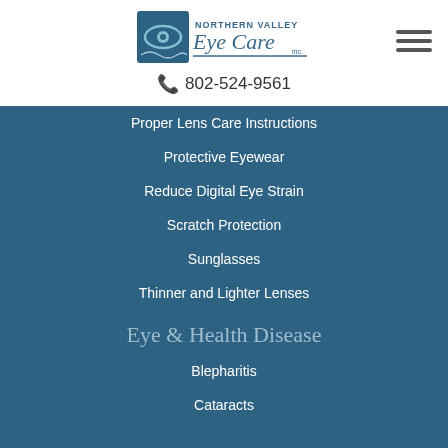[Figure (logo): Northern Valley Eye Care Inc. logo with eye graphic and text]
📞 802-524-9561
Proper Lens Care Instructions
Protective Eyewear
Reduce Digital Eye Strain
Scratch Protection
Sunglasses
Thinner and Lighter Lenses
Eye & Health Disease
Blepharitis
Cataracts